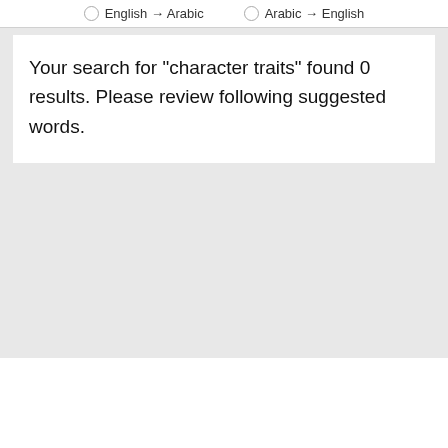English → Arabic    Arabic → English
Your search for "character traits" found 0 results. Please review following suggested words.